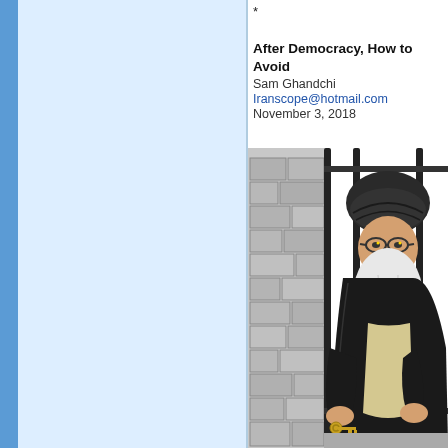*
After Democracy, How to Avoid
Sam Ghandchi
Iranscope@hotmail.com
November 3, 2018
[Figure (illustration): Political cartoon showing a bearded cleric in black robes and turban standing behind prison bars, holding keys. The figure resembles a caricature of an Iranian religious leader smiling behind jail bars with a stone wall background.]